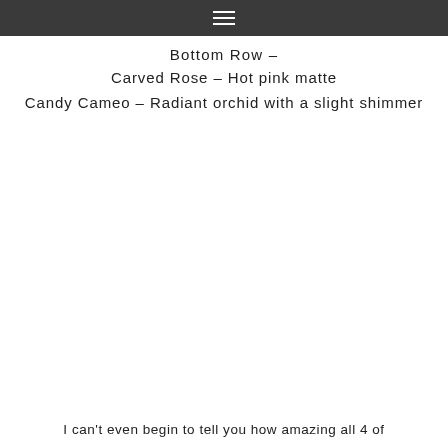≡
Bottom Row –
Carved Rose – Hot pink matte
Candy Cameo – Radiant orchid with a slight shimmer
I can't even begin to tell you how amazing all 4 of